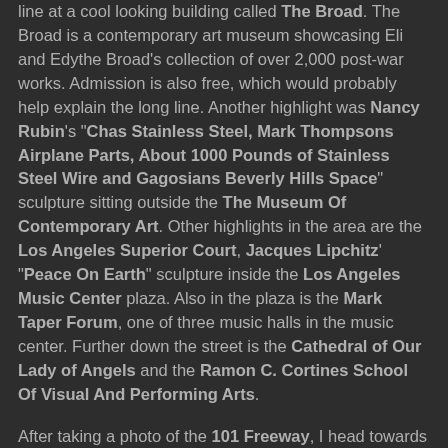line at a cool looking building called The Broad. The Broad is a contemporary art museum showcasing Eli and Edythe Broad's collection of over 2,000 post-war works. Admission is also free, which would probably help explain the long line. Another highlight was Nancy Rubin's "Chas Stainless Steel, Mark Thompsons Airplane Parts, About 1000 Pounds of Stainless Steel Wire and Gagosians Beverly Hills Space" sculpture sitting outside the The Museum Of Contemporary Art. Other highlights in the area are the Los Angeles Superior Court, Jacques Lipchitz' "Peace On Earth" sculpture inside the Los Angeles Music Center plaza. Also in the plaza is the Mark Taper Forum, one of three music halls in the music center. Further down the street is the Cathedral of Our Lady of Angels and the Ramon C. Cortines School Of Visual And Performing Arts.
After taking a photo of the 101 Freeway, I head towards the government buildings area. First up...the landmark Los Angeles City Hall. I really love this building. It was completed in 1928.